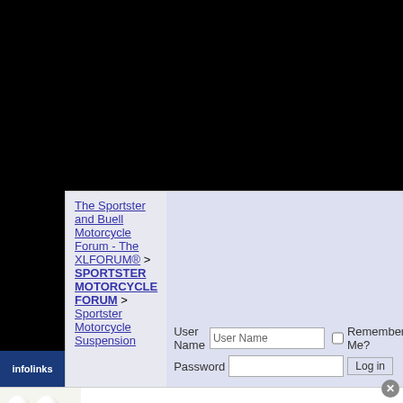[Figure (screenshot): Black top area representing cropped/hidden browser content]
The Sportster and Buell Motorcycle Forum - The XLFORUM® > SPORTSTER MOTORCYCLE FORUM > Sportster Motorcycle Suspension
User Name  [User Name input]  [checkbox] Remember Me?  Password  [password input]  [Log in button]
infolinks
Recommend: This Diabetes Treatment Will
n/a